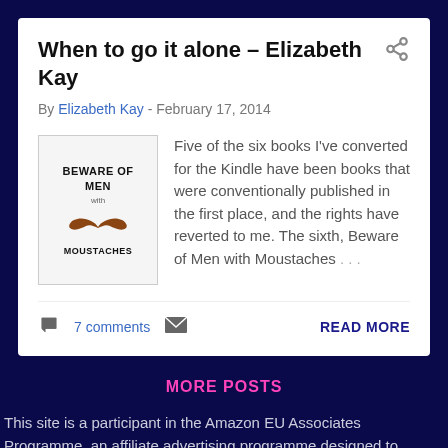When to go it alone – Elizabeth Kay
By Elizabeth Kay - February 17, 2014
[Figure (illustration): Book cover: 'Beware of Men with Moustaches' featuring a brown mustache illustration on a light background]
Five of the six books I've converted for the Kindle have been books that were conventionally published in the first place, and the rights have reverted to me. The sixth, Beware of Men with Moustaches ...
7 comments
READ MORE
MORE POSTS
This site is a participant in the Amazon EU Associates Programme, an affiliate advertising programme designed to provide means for sites to earn advertising fees by linking to